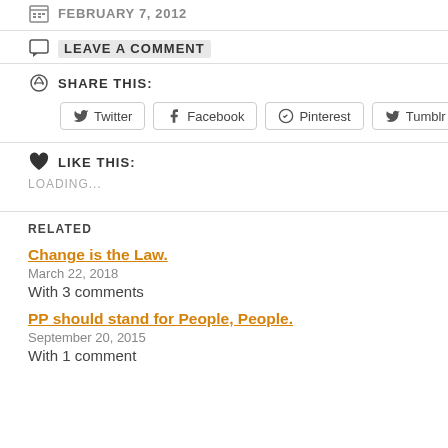FEBRUARY 7, 2012
LEAVE A COMMENT
SHARE THIS:
Twitter  Facebook  Pinterest  Tumblr
LIKE THIS:
LOADING...
RELATED
Change is the Law.
March 22, 2018
With 3 comments
PP should stand for People, People.
September 20, 2015
With 1 comment